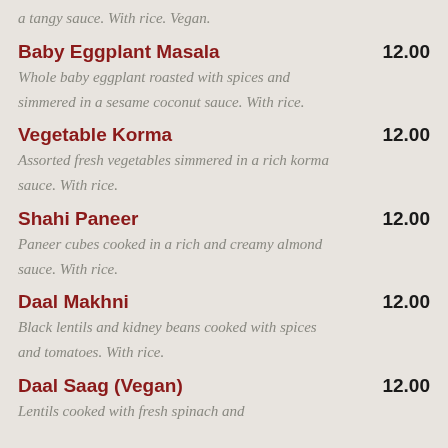a tangy sauce. With rice. Vegan.
Baby Eggplant Masala 12.00 — Whole baby eggplant roasted with spices and simmered in a sesame coconut sauce. With rice.
Vegetable Korma 12.00 — Assorted fresh vegetables simmered in a rich korma sauce. With rice.
Shahi Paneer 12.00 — Paneer cubes cooked in a rich and creamy almond sauce. With rice.
Daal Makhni 12.00 — Black lentils and kidney beans cooked with spices and tomatoes. With rice.
Daal Saag (Vegan) 12.00 — Lentils cooked with fresh spinach and